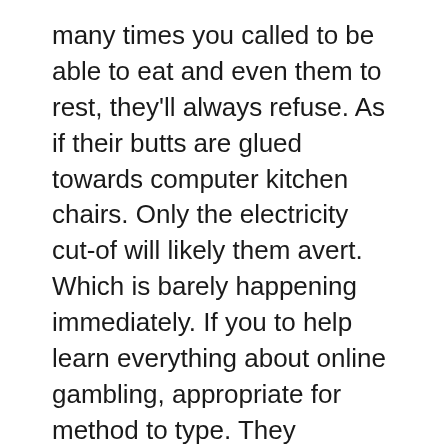many times you called to be able to eat and even them to rest, they'll always refuse. As if their butts are glued towards computer kitchen chairs. Only the electricity cut-of will likely them avert. Which is barely happening immediately. If you to help learn everything about online gambling, appropriate for method to type. They understand everything. Tricks. Rules. Addicted as they can possibly be.
Online casino gambling is certainly like in order to be an actual casino except you are gambling originating from a comfort of your own family home. There will be no pretty waitresses serving you drinks and sole smoke should have to smell is if you smoke yourself. Each and every you certainly non